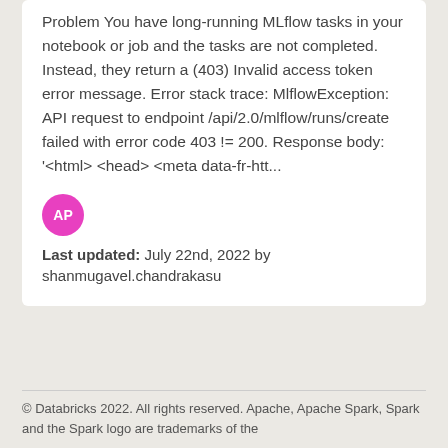Problem You have long-running MLflow tasks in your notebook or job and the tasks are not completed. Instead, they return a (403) Invalid access token error message. Error stack trace: MlflowException: API request to endpoint /api/2.0/mlflow/runs/create failed with error code 403 != 200. Response body: '<html> <head> <meta data-fr-htt...
Last updated: July 22nd, 2022 by shanmugavel.chandrakasu
© Databricks 2022. All rights reserved. Apache, Apache Spark, Spark and the Spark logo are trademarks of the